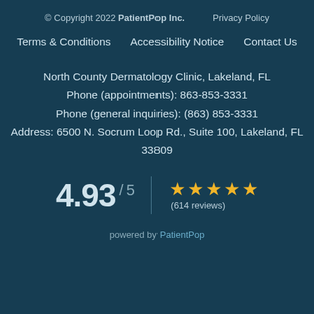© Copyright 2022 PatientPop Inc.    Privacy Policy
Terms & Conditions    Accessibility Notice    Contact Us
North County Dermatology Clinic, Lakeland, FL
Phone (appointments): 863-853-3331
Phone (general inquiries): (863) 853-3331
Address: 6500 N. Socrum Loop Rd., Suite 100, Lakeland, FL 33809
4.93 / 5   ★★★★★ (614 reviews)
powered by PatientPop